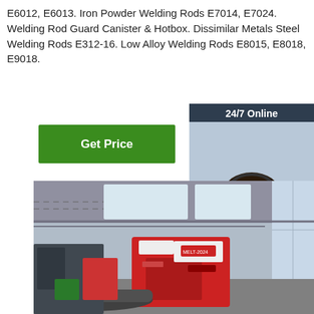E6012, E6013. Iron Powder Welding Rods E7014, E7024. Welding Rod Guard Canister & Hotbox. Dissimilar Metals Steel Welding Rods E312-16. Low Alloy Welding Rods E8015, E8018, E9018.
[Figure (other): Green 'Get Price' button]
[Figure (other): 24/7 Online chat widget with woman wearing headset, 'Click here for free chat!' text and orange QUOTATION button]
[Figure (photo): Industrial factory floor with welding/metalworking machinery, a large red machine and metal pipes/tubes in the foreground]